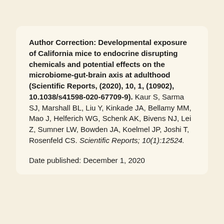Author Correction: Developmental exposure of California mice to endocrine disrupting chemicals and potential effects on the microbiome-gut-brain axis at adulthood (Scientific Reports, (2020), 10, 1, (10902), 10.1038/s41598-020-67709-9). Kaur S, Sarma SJ, Marshall BL, Liu Y, Kinkade JA, Bellamy MM, Mao J, Helferich WG, Schenk AK, Bivens NJ, Lei Z, Sumner LW, Bowden JA, Koelmel JP, Joshi T, Rosenfeld CS. Scientific Reports; 10(1):12524.
Date published: December 1, 2020